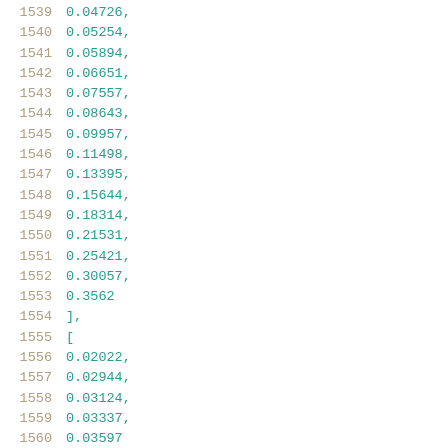1539    0.04726,
1540    0.05254,
1541    0.05894,
1542    0.06651,
1543    0.07557,
1544    0.08643,
1545    0.09957,
1546    0.11498,
1547    0.13395,
1548    0.15644,
1549    0.18314,
1550    0.21531,
1551    0.25421,
1552    0.30057,
1553    0.3562
1554    ],
1555    [
1556    0.02022,
1557    0.02944,
1558    0.03124,
1559    0.03337,
1560    0.03597